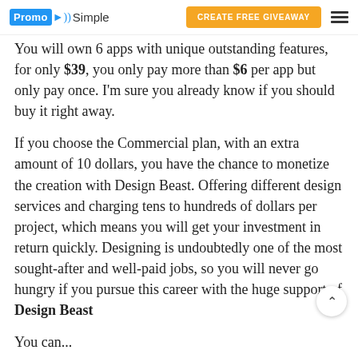PromoSimple | CREATE FREE GIVEAWAY
You will own 6 apps with unique outstanding features, for only $39, you only pay more than $6 per app but only pay once. I'm sure you already know if you should buy it right away.
If you choose the Commercial plan, with an extra amount of 10 dollars, you have the chance to monetize the creation with Design Beast. Offering different design services and charging tens to hundreds of dollars per project, which means you will get your investment in return quickly. Designing is undoubtedly one of the most sought-after and well-paid jobs, so you will never go hungry if you pursue this career with the huge support of Design Beast
You can...